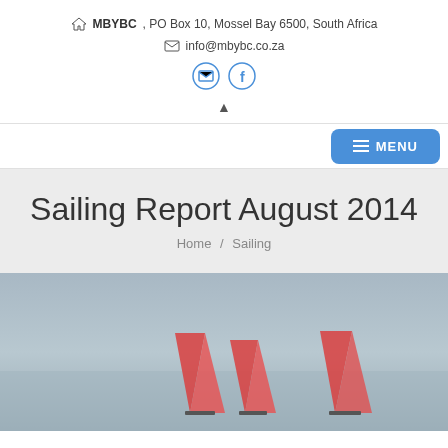MBYBC, PO Box 10, Mossel Bay 6500, South Africa
info@mbybc.co.za
[Figure (other): Social media icons: email and Facebook circle icons in blue outline style]
Sailing Report August 2014
Home / Sailing
[Figure (photo): Aerial or distant photo of sailboats on the water with grey overcast sky, showing red sails]